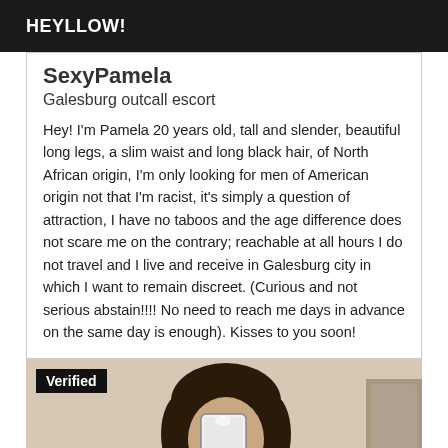HEYLLOW!
SexyPamela
Galesburg outcall escort
Hey! I'm Pamela 20 years old, tall and slender, beautiful long legs, a slim waist and long black hair, of North African origin, I'm only looking for men of American origin not that I'm racist, it's simply a question of attraction, I have no taboos and the age difference does not scare me on the contrary; reachable at all hours I do not travel and I live and receive in Galesburg city in which I want to remain discreet. (Curious and not serious abstain!!!! No need to reach me days in advance on the same day is enough). Kisses to you soon!
[Figure (photo): Verified profile photo of a person taking a mirror selfie with a phone, dark hair visible, warm/beige toned background]